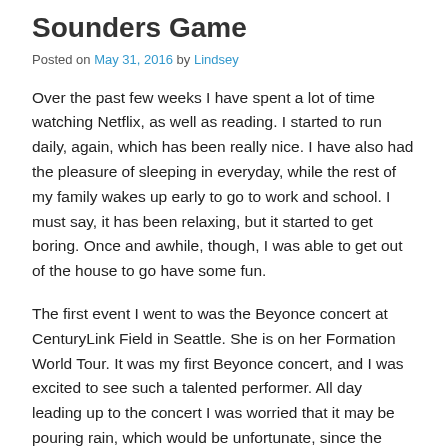Sounders Game
Posted on May 31, 2016 by Lindsey
Over the past few weeks I have spent a lot of time watching Netflix, as well as reading. I started to run daily, again, which has been really nice. I have also had the pleasure of sleeping in everyday, while the rest of my family wakes up early to go to work and school. I must say, it has been relaxing, but it started to get boring. Once and awhile, though, I was able to get out of the house to go have some fun.
The first event I went to was the Beyonce concert at CenturyLink Field in Seattle. She is on her Formation World Tour. It was my first Beyonce concert, and I was excited to see such a talented performer. All day leading up to the concert I was worried that it may be pouring rain, which would be unfortunate, since the stadium does not have a roof. Thankfully, my sister and I had seats that